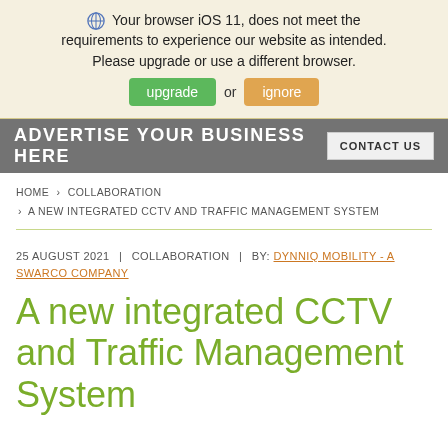🌐 Your browser iOS 11, does not meet the requirements to experience our website as intended. Please upgrade or use a different browser. [upgrade] or [ignore]
[Figure (other): Advertisement banner: ADVERTISE YOUR BUSINESS HERE with a CONTACT US button]
HOME > COLLABORATION > A NEW INTEGRATED CCTV AND TRAFFIC MANAGEMENT SYSTEM
25 AUGUST 2021 | COLLABORATION | BY: DYNNIQ MOBILITY - A SWARCO COMPANY
A new integrated CCTV and Traffic Management System